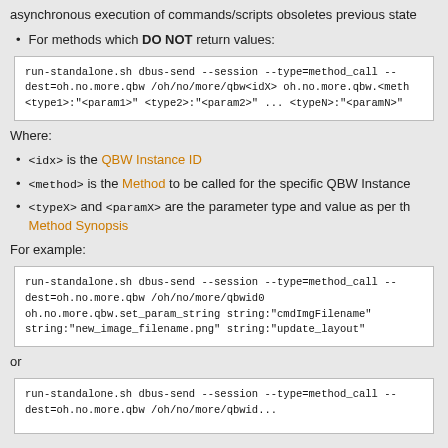asynchronous execution of commands/scripts obsoletes previous state
For methods which DO NOT return values:
[Figure (screenshot): Code block: run-standalone.sh dbus-send --session --type=method_call -- dest=oh.no.more.qbw /oh/no/more/qbw<idX> oh.no.more.qbw.<meth <type1>:"<param1>" <type2>:"<param2>" ... <typeN>:"<paramN>"]
Where:
<idx> is the QBW Instance ID
<method> is the Method to be called for the specific QBW Instance
<typeX> and <paramX> are the parameter type and value as per the Method Synopsis
For example:
[Figure (screenshot): Code block: run-standalone.sh dbus-send --session --type=method_call -- dest=oh.no.more.qbw /oh/no/more/qbwid0 oh.no.more.qbw.set_param_string string:"cmdImgFilename" string:"new_image_filename.png" string:"update_layout"]
or
[Figure (screenshot): Code block: run-standalone.sh dbus-send --session --type=method_call -- dest=oh.no.more.qbw /oh/no/more/qbwid...]